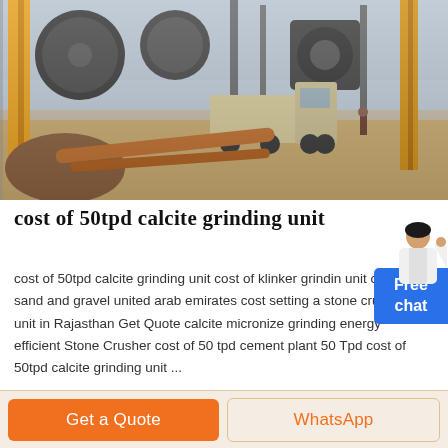[Figure (photo): Industrial grinding/crushing plant facility with large machinery, cylindrical mills, yellow steel structures, a white pickup truck, scattered pipes and earth mounds in foreground]
cost of 50tpd calcite grinding unit
cost of 50tpd calcite grinding unit cost of klinker grinding unit cost of sand and gravel united arab emirates cost setting a stone crusher unit in Rajasthan Get Quote calcite micronize grinding energy efficient Stone Crusher cost of 50 tpd cement plant 50 Tpd cost of 50tpd calcite grinding unit ...
Free chat
Get a Quote
WhatsApp